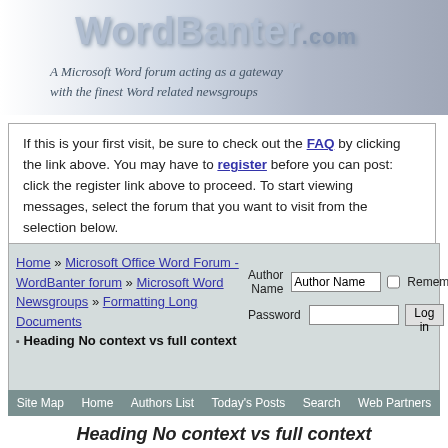[Figure (logo): WordBanter.com logo banner with keyboard image background and tagline: A Microsoft Word forum acting as a gateway with the finest Word related newsgroups]
If this is your first visit, be sure to check out the FAQ by clicking the link above. You may have to register before you can post: click the register link above to proceed. To start viewing messages, select the forum that you want to visit from the selection below.
Home » Microsoft Office Word Forum - WordBanter forum » Microsoft Word Newsgroups » Formatting Long Documents
Heading No context vs full context
Site Map  Home  Authors List  Today's Posts  Search  Web Partners
Heading No context vs full context